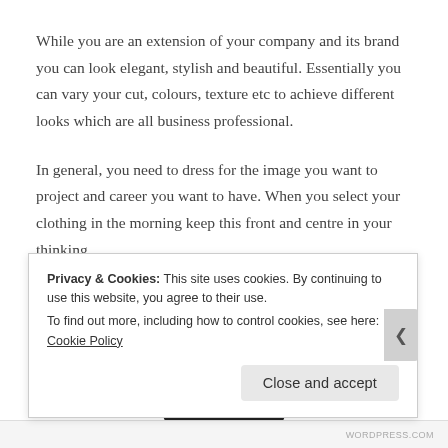While you are an extension of your company and its brand you can look elegant, stylish and beautiful. Essentially you can vary your cut, colours, texture etc to achieve different looks which are all business professional.
In general, you need to dress for the image you want to project and career you want to have. When you select your clothing in the morning keep this front and centre in your thinking.
Privacy & Cookies: This site uses cookies. By continuing to use this website, you agree to their use.
To find out more, including how to control cookies, see here: Cookie Policy